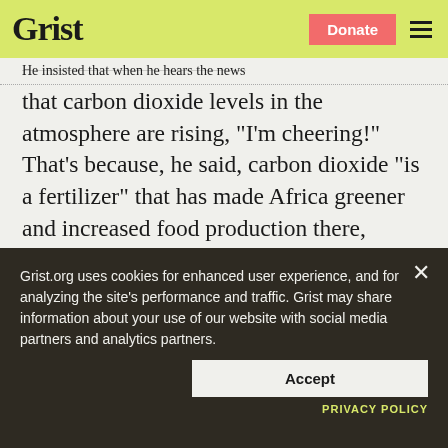Grist | Donate
He insisted that when he hears the news that carbon dioxide levels in the atmosphere are rising, “I’m cheering!” That’s because, he said, carbon dioxide “is a fertilizer” that has made Africa greener and increased food production there, reducing human misery.
Rossiter also claimed that carbon dioxide
Grist.org uses cookies for enhanced user experience, and for analyzing the site’s performance and traffic. Grist may share information about your use of our website with social media partners and analytics partners.
Accept
PRIVACY POLICY